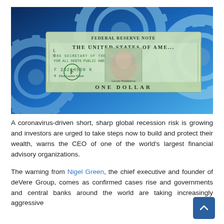[Figure (photo): A US one dollar bill overlaid on a background of mechanical gears/cogs on a blue gradient background, with text partially visible showing 'THE UNITED STATES OF AME...' and 'F23214550K' and 'ONE DOLLAR']
A coronavirus-driven short, sharp global recession risk is growing and investors are urged to take steps now to build and protect their wealth, warns the CEO of one of the world's largest financial advisory organizations.
The warning from Nigel Green, the chief executive and founder of deVere Group, comes as confirmed cases rise and governments and central banks around the world are taking increasingly aggressive